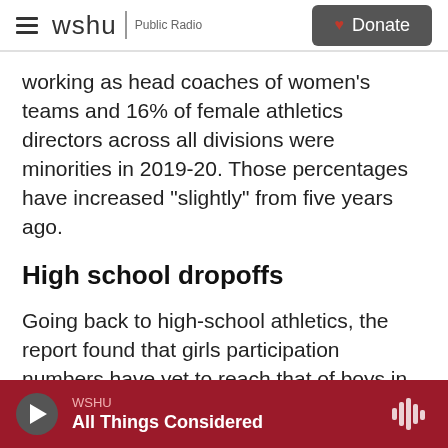wshu Public Radio | Donate
working as head coaches of women's teams and 16% of female athletics directors across all divisions were minorities in 2019-20. Those percentages have increased "slightly" from five years ago.
High school dropoffs
Going back to high-school athletics, the report found that girls participation numbers have yet to reach that of boys in the 1971-72 school year leading to the law's implementation.
WSHU
All Things Considered